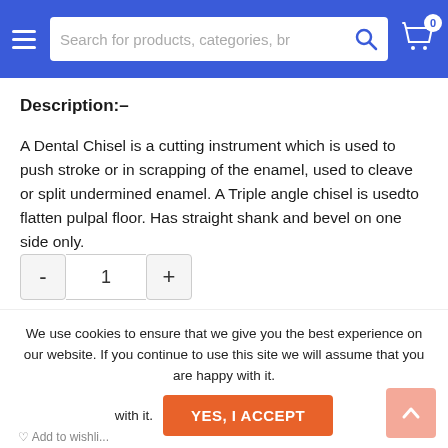Search for products, categories, br
Description:–
A Dental Chisel is a cutting instrument which is used to push stroke or in scrapping of the enamel, used to cleave or split undermined enamel. A Triple angle chisel is usedto flatten pulpal floor. Has straight shank and bevel on one side only.
We use cookies to ensure that we give you the best experience on our website. If you continue to use this site we will assume that you are happy with it.